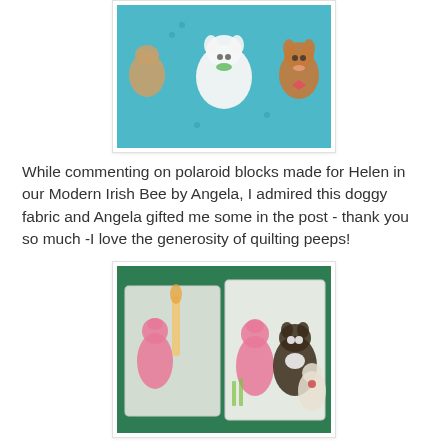[Figure (photo): Photo of teal/turquoise fabric with cartoon dogs (white schnauzer, brown chihuahua/corgi type dogs) printed on it]
While commenting on polaroid blocks made for Helen in our Modern Irish Bee by Angela, I admired this doggy fabric and Angela gifted me some in the post - thank you so much -I love the generosity of quilting peeps!
[Figure (photo): Photo of fabric bundles in plastic packaging featuring illustrated dogs including pink poodles, boston terriers, and other dog breeds on white background, placed on green cutting mat]
My generous cousin we visited in Chicago, to celebrate her wedding, also gifted me dog fabric.  As soon as I saw this I knew it was the range Best in Show.  I have been eyeing this